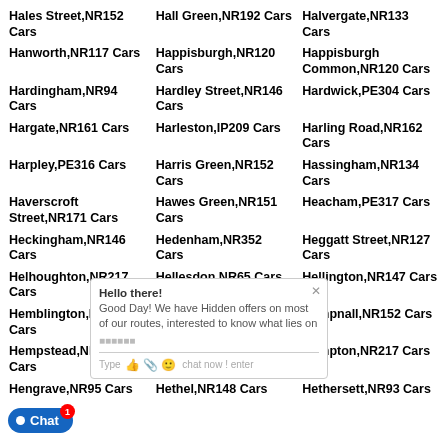Hales Street,NR152 Cars
Hall Green,NR192 Cars
Halvergate,NR133 Cars
Hanworth,NR117 Cars
Happisburgh,NR120 Cars
Happisburgh Common,NR120 Cars
Hardingham,NR94 Cars
Hardley Street,NR146 Cars
Hardwick,PE304 Cars
Hargate,NR161 Cars
Harleston,IP209 Cars
Harling Road,NR162 Cars
Harpley,PE316 Cars
Harris Green,NR152 Cars
Hassingham,NR134 Cars
Haverscroft Street,NR171 Cars
Hawes Green,NR151 Cars
Heacham,PE317 Cars
Heckingham,NR146 Cars
Hedenham,NR352 Cars
Heggatt Street,NR127 Cars
Helhoughton,NR217 Cars
Hellesdon,NR65 Cars
Hellington,NR147 Cars
Hemblington,NR134 Cars
Hemblington Corner,NR134 Cars
Hempnall,NR152 Cars
Hempstead,NR256 Cars
Hempton,NR217 Cars
Hengrave,NR95 Cars
Hethel,NR148 Cars
Hethersett,NR93 Cars